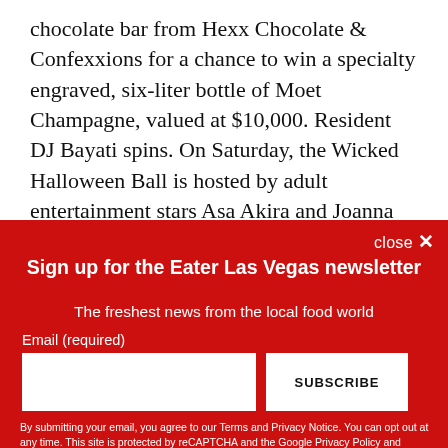chocolate bar from Hexx Chocolate & Confexxions for a chance to win a specialty engraved, six-liter bottle of Moet Champagne, valued at $10,000. Resident DJ Bayati spins. On Saturday, the Wicked Halloween Ball is hosted by adult entertainment stars Asa Akira and Joanna Angel, featuring the mixes of DJ Dre Dae. Tickets to the Chateau Golden Ticket Party and Wicked Halloween Ball are priced at $40
Sign up for the Eater Las Vegas newsletter
The freshest news from the local food world
Email (required)
SUBSCRIBE
By submitting your email, you agree to our Terms and Privacy Notice. You can opt out at any time. This site is protected by reCAPTCHA and the Google Privacy Policy and Terms of Service apply.